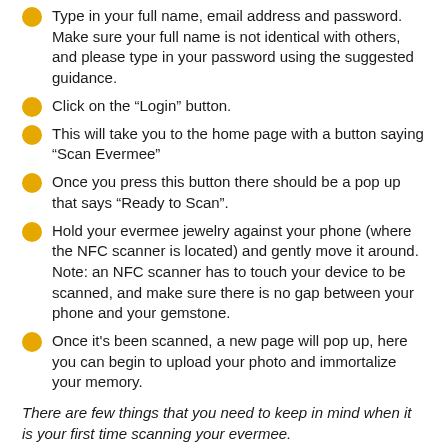Type in your full name, email address and password. Make sure your full name is not identical with others, and please type in your password using the suggested guidance.
Click on the "Login" button.
This will take you to the home page with a button saying "Scan Evermee"
Once you press this button there should be a pop up that says "Ready to Scan".
Hold your evermee jewelry against your phone (where the NFC scanner is located) and gently move it around. Note: an NFC scanner has to touch your device to be scanned, and make sure there is no gap between your phone and your gemstone.
Once it's been scanned, a new page will pop up, here you can begin to upload your photo and immortalize your memory.
There are few things that you need to keep in mind when it is your first time scanning your evermee.
- Please make sure there is no other metal object near your